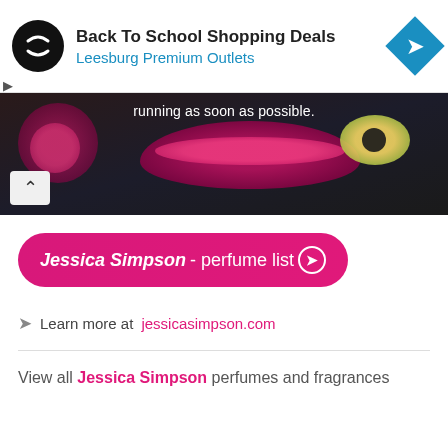[Figure (infographic): Advertisement bar: circular black logo with double arrow symbol, text 'Back To School Shopping Deals' and 'Leesburg Premium Outlets' in blue, blue diamond navigation icon on right, small play and close icons on left edge]
[Figure (photo): Dark video thumbnail with colorful pop-art style lips, eye, and floral imagery. Text overlay reads 'running as soon as possible.' with a white collapse chevron button on the left.]
[Figure (infographic): Pink rounded rectangle button with text 'Jessica Simpson - perfume list' and a circled arrow icon]
Learn more at jessicasimpson.com
View all Jessica Simpson perfumes and fragrances